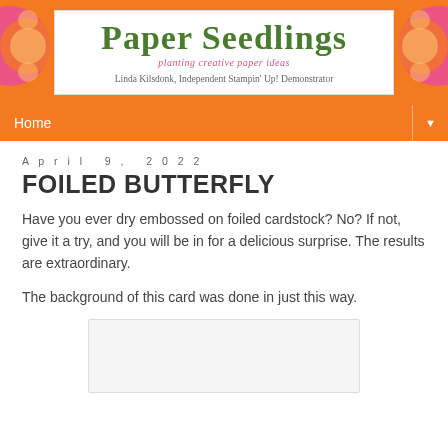Paper Seedlings — planting creative paper ideas — Linda Kilsdonk, Independent Stampin' Up! Demonstrator
Home
April 9, 2022
FOILED BUTTERFLY
Have you ever dry embossed on foiled cardstock? No? If not, give it a try, and you will be in for a delicious surprise. The results are extraordinary.
The background of this card was done in just this way.
[Figure (photo): Partial view of a handmade card featuring a foiled butterfly design]